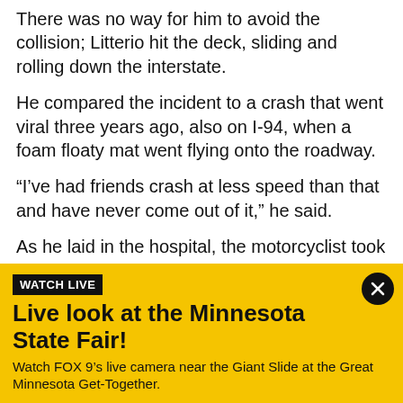There was no way for him to avoid the collision; Litterio hit the deck, sliding and rolling down the interstate.
He compared the incident to a crash that went viral three years ago, also on I-94, when a foam floaty mat went flying onto the roadway.
“I’ve had friends crash at less speed than that and have never come out of it,” he said.
As he laid in the hospital, the motorcyclist took to Facebook in an effort to find the driver responsible.
“I’m in the trucking industry, have been for nearly 40
[Figure (infographic): Yellow banner ad: WATCH LIVE label in black box, bold headline 'Live look at the Minnesota State Fair!', subtitle 'Watch FOX 9’s live camera near the Giant Slide at the Great Minnesota Get-Together.' with a circular black close button with X on the top right.]